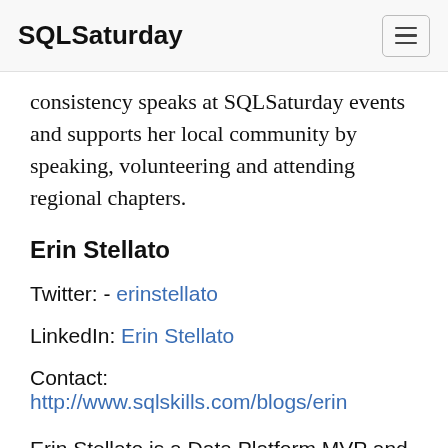SQLSaturday
consistency speaks at SQLSaturday events and supports her local community by speaking, volunteering and attending regional chapters.
Erin Stellato
Twitter: - erinstellato
LinkedIn: Erin Stellato
Contact: http://www.sqlskills.com/blogs/erin
Erin Stellato is a Data Platform MVP and lives outside Cleveland, OH. She has almost 20 years